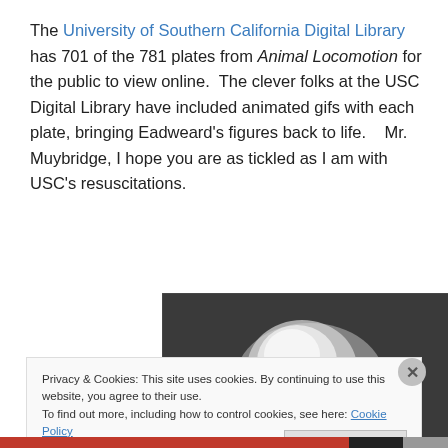The University of Southern California Digital Library has 701 of the 781 plates from Animal Locomotion for the public to view online.  The clever folks at the USC Digital Library have included animated gifs with each plate, bringing Eadweard's figures back to life.    Mr. Muybridge, I hope you are as tickled as I am with USC's resuscitations.
[Figure (photo): Black and white photograph, possibly a portrait or figure, with a vertical text label on the right edge. The image shows a white/light subject against a dark background.]
Privacy & Cookies: This site uses cookies. By continuing to use this website, you agree to their use.
To find out more, including how to control cookies, see here: Cookie Policy
Close and accept